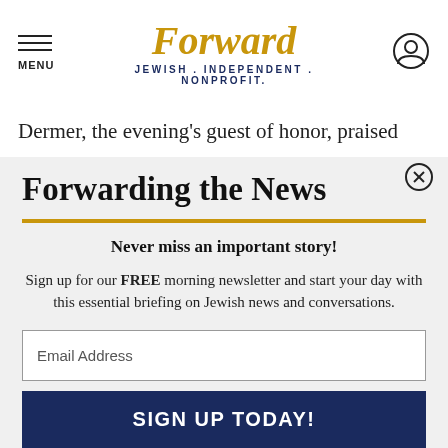MENU | Forward — JEWISH . INDEPENDENT . NONPROFIT.
Dermer, the evening's guest of honor, praised
Forwarding the News
Never miss an important story!
Sign up for our FREE morning newsletter and start your day with this essential briefing on Jewish news and conversations.
Email Address
SIGN UP TODAY!